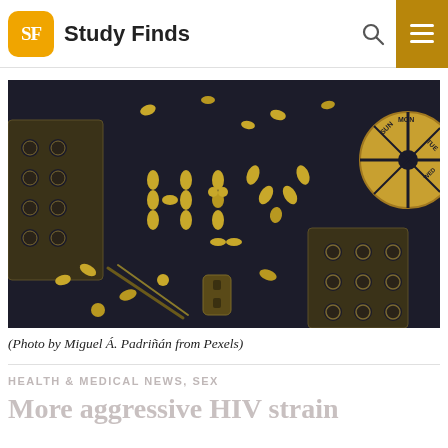Study Finds
[Figure (photo): Dark background with gold-colored pills, capsules, and pill blister packs arranged to spell out 'HIV' in the center. A round pill organizer with days of the week visible on the right side. Tweezers and various medical/pharmaceutical items scattered around.]
(Photo by Miguel Á. Padriñán from Pexels)
HEALTH & MEDICAL NEWS, SEX
More aggressive HIV strain